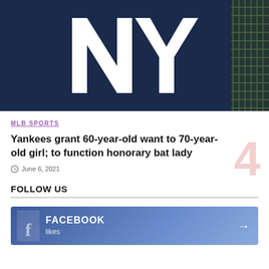[Figure (photo): New York Yankees NY logo on dark navy blue background with fence visible on right side]
MLB SPORTS
Yankees grant 60-year-old want to 70-year-old girl; to function honorary bat lady
June 6, 2021
FOLLOW US
FACEBOOK likes